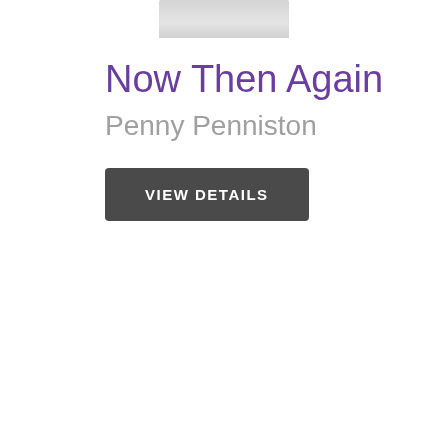[Figure (illustration): Partial book cover image visible at top center of page, mostly cropped, showing a light gray/silver book cover.]
Now Then Again
Penny Penniston
VIEW DETAILS